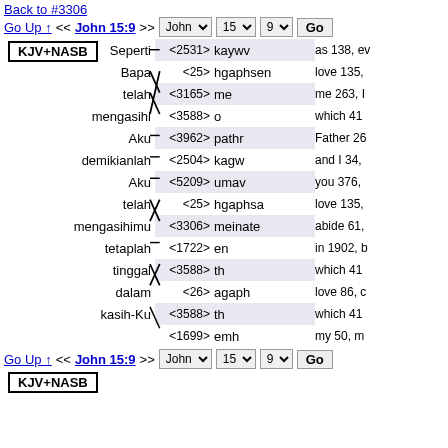Back to #3306
Go Up ↑ << John 15:9 >> [John dropdown] [15 dropdown] [9 dropdown] [Go button]
[Figure (other): Interlinear Bible word alignment diagram showing Indonesian words on the left connected by crossing lines to Greek Strong's number codes and transliterations in the middle, with English usage notes on the right. Left words: Seperti, Bapa, telah, mengasihi, Aku, demikianlah, Aku, telah, mengasihimu, tetaplah, tinggal, dalam, kasih-Ku. Middle codes/words: <2531> kaywv, <25> hgaphsen, <3165> me, <3588> o, <3962> pathr, <2504> kagw, <5209> umav, <25> hgaphsa, <3306> meinate, <1722> en, <3588> th, <26> agaph, <3588> th, <1699> emh. Right: as 138 ev, love 135, me 263, which 41, Father 26, and I 34, you 376, love 135, abide 61, in 1902 b, which 41, love 86 c, which 41, my 50 m]
Go Up ↑ << John 15:9 >> [John dropdown] [15 dropdown] [9 dropdown] [Go button]
KJV+NASB